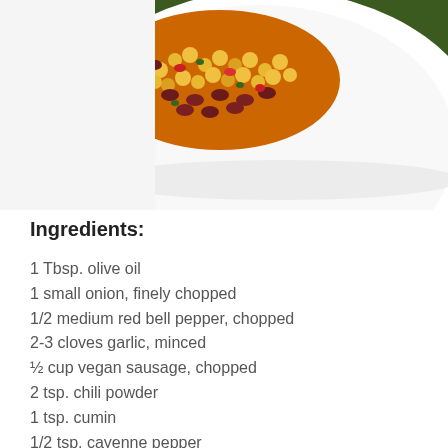[Figure (photo): A white plate with a mixture of sautéed corn, kidney beans, and colorful vegetables including red bell pepper, on a dark green background]
Ingredients:
1 Tbsp. olive oil
1 small onion, finely chopped
1/2 medium red bell pepper, chopped
2-3 cloves garlic, minced
½ cup vegan sausage, chopped
2 tsp. chili powder
1 tsp. cumin
1/2 tsp. cayenne pepper